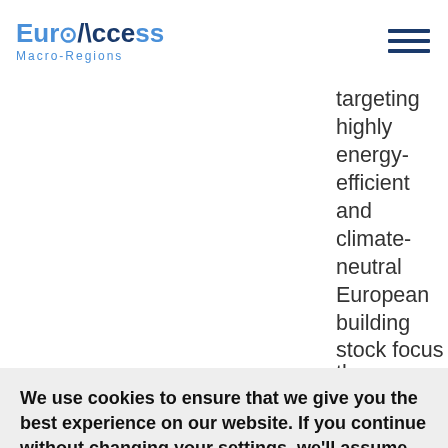EuroAccess Macro-Regions
targeting highly energy-efficient and climate-neutral European building stock focus on both, the energy challenge in buildings and, more broadly, the transformation of the built environment towards more
uhaus reen
ay", it ng y of cative, At
the intersection of science,
We use cookies to ensure that we give you the best experience on our website. If you continue without changing your settings, we'll assume that you are happy to receive all cookies on the website.  More information
Agree